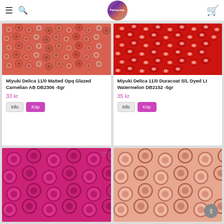Pärtsystar (logo) — hamburger menu, search, cart
[Figure (photo): Close-up of Miyuki Delica pink/salmon matted glazed beads]
Miyuki Delica 11/0 Matted Opq Glazed Carnelian AB DB2306 -5gr
33 kr
Info  Köp
[Figure (photo): Close-up of Miyuki Delica red silver-lined dyed watermelon beads]
Miyuki Delica 11/0 Duracoat S/L Dyed Lt Watermelon DB2152 -5gr
35 kr
Info  Köp
[Figure (photo): Close-up of pink/magenta Miyuki beads (partial, bottom row)]
[Figure (photo): Close-up of peach/salmon Miyuki beads (partial, bottom row)]